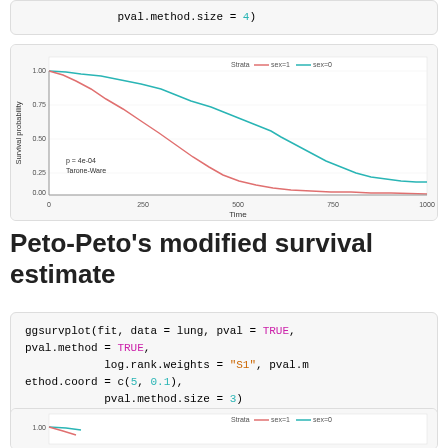pval.method.size = 4)
[Figure (line-chart): Survival probability vs Time, two groups (sex=1 salmon/pink, sex=0 teal/cyan), p=4e-04, Tarone-Ware test shown]
Peto-Peto’s modified survival estimate
ggsurvplot(fit, data = lung, pval = TRUE,
  pval.method = TRUE,
              log.rank.weights = "S1", pval.method.coord = c(5, 0.1),
              pval.method.size = 3)
[Figure (line-chart): Partial view of survival probability vs Time chart, same two groups]